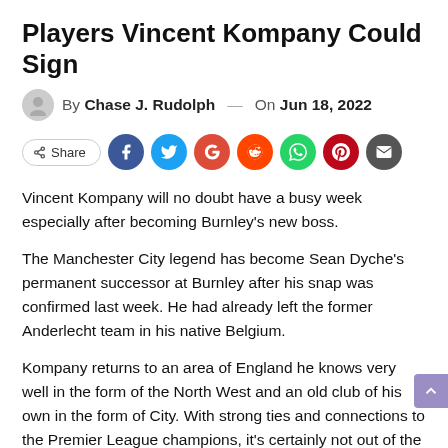Players Vincent Kompany Could Sign
By Chase J. Rudolph — On Jun 18, 2022
[Figure (other): Share button row with social media icons: Facebook, Twitter, Google, Reddit, WhatsApp, Pinterest, Email]
Vincent Kompany will no doubt have a busy week especially after becoming Burnley's new boss.
The Manchester City legend has become Sean Dyche's permanent successor at Burnley after his snap was confirmed last week. He had already left the former Anderlecht team in his native Belgium.
Kompany returns to an area of England he knows very well in the form of the North West and an old club of his own in the form of City. With strong ties and connections to the Premier League champions, it's certainly not out of the question that Kompany could make calls to his former employers for the